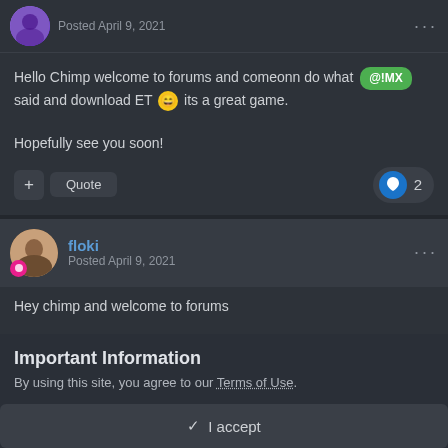Posted April 9, 2021
Hello Chimp welcome to forums and comeonn do what @!MX said and download ET its a great game.

Hopefully see you soon!
Quote  2
floki
Posted April 9, 2021
Hey chimp and welcome to forums
Important Information
By using this site, you agree to our Terms of Use.
✓ I accept